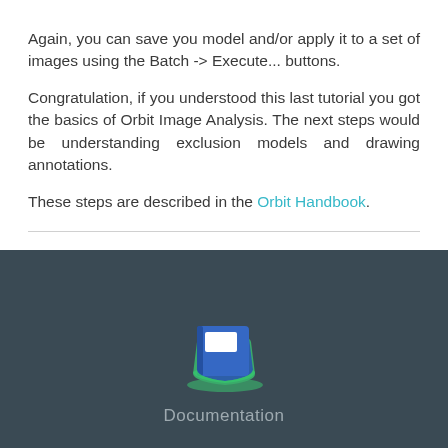Again, you can save you model and/or apply it to a set of images using the Batch -> Execute... buttons.
Congratulation, if you understood this last tutorial you got the basics of Orbit Image Analysis. The next steps would be understanding exclusion models and drawing annotations.
These steps are described in the Orbit Handbook.
[Figure (illustration): Blue book with green bookmark/pages icon representing Documentation, shown on a dark teal-gray background with the label 'Documentation' below it]
[Figure (illustration): Green envelope/email icon on dark teal-gray background]